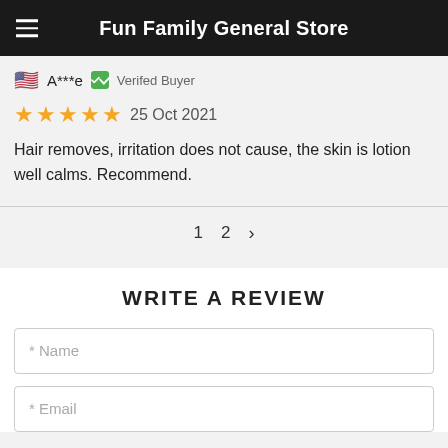Fun Family General Store
🇺🇸 A***e ✓ Verified Buyer
★★★★★ 25 Oct 2021
Hair removes, irritation does not cause, the skin is lotion well calms. Recommend.
1  2  ›
WRITE A REVIEW
* Name
* Email